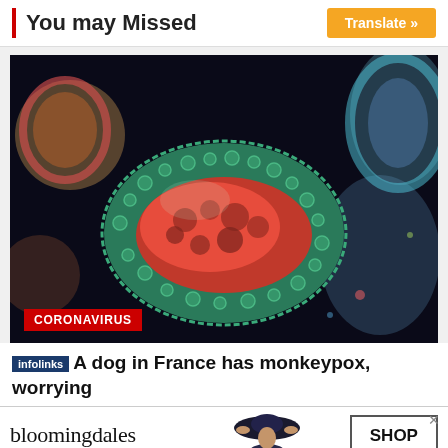You may Missed
[Figure (photo): 3D rendered illustration of a monkeypox/coronavirus virus particle with green bumpy surface and red interior, shown on dark background with other blurred colorful particles. Red label 'CORONAVIRUS' in bottom left corner.]
A dog in France has monkeypox, worrying
[Figure (infographic): Bloomingdales advertisement banner showing logo, 'View Today's Top Deals!' tagline, a woman in a hat, and a 'SHOP NOW >' button. Infolinks badge in top left corner.]